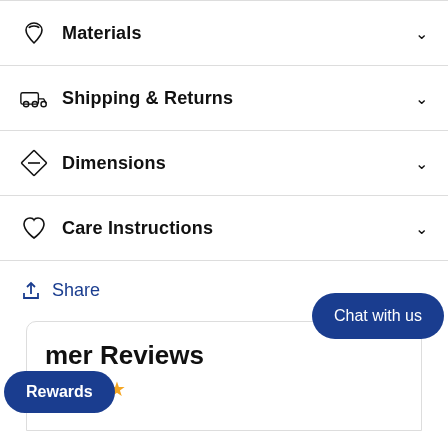Materials
Shipping & Returns
Dimensions
Care Instructions
Share
mer Reviews